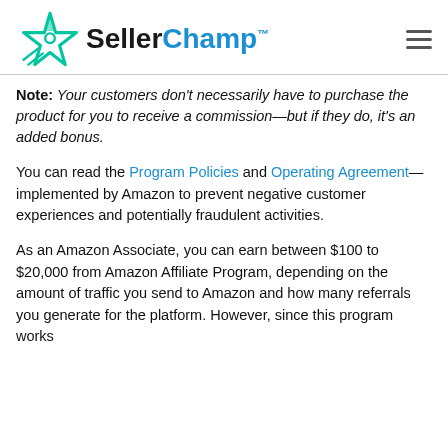SellerChamp logo and navigation
Note: Your customers don't necessarily have to purchase the product for you to receive a commission—but if they do, it's an added bonus.
You can read the Program Policies and Operating Agreement—implemented by Amazon to prevent negative customer experiences and potentially fraudulent activities.
As an Amazon Associate, you can earn between $100 to $20,000 from Amazon Affiliate Program, depending on the amount of traffic you send to Amazon and how many referrals you generate for the platform. However, since this program works